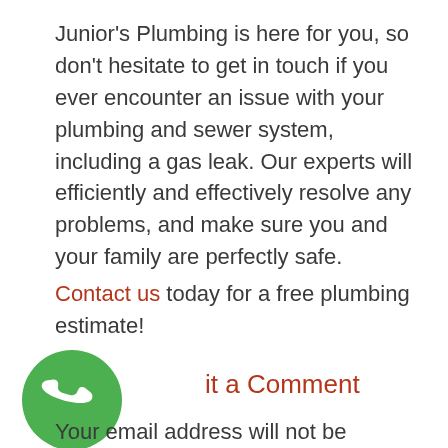Junior's Plumbing is here for you, so don't hesitate to get in touch if you ever encounter an issue with your plumbing and sewer system, including a gas leak. Our experts will efficiently and effectively resolve any problems, and make sure you and your family are perfectly safe.
Contact us today for a free plumbing estimate!
[Figure (illustration): Green circular phone icon with white handset symbol]
Submit a Comment
Your email address will not be published.